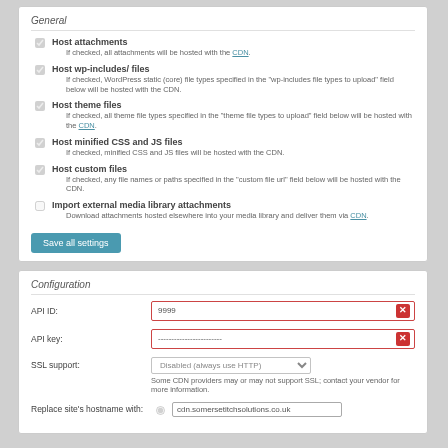General
Host attachments - If checked, all attachments will be hosted with the CDN.
Host wp-includes/ files - If checked, WordPress static (core) file types specified in the "wp-includes file types to upload" field below will be hosted with the CDN.
Host theme files - If checked, all theme file types specified in the "theme file types to upload" field below will be hosted with the CDN.
Host minified CSS and JS files - If checked, minified CSS and JS files will be hosted with the CDN.
Host custom files - If checked, any file names or paths specified in the "custom file url" field below will be hosted with the CDN.
Import external media library attachments - Download attachments hosted elsewhere into your media library and deliver them via CDN.
Save all settings
Configuration
| Field | Value |
| --- | --- |
| API ID: | 9999 |
| API key: | ------------------------ |
| SSL support: | Disabled (always use HTTP) |
| Replace site's hostname with: | cdn.somersetitchsolutions.co.uk |
Some CDN providers may or may not support SSL; contact your vendor for more information.